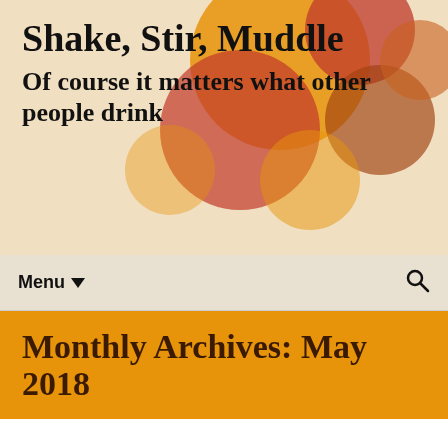Shake, Stir, Muddle
Of course it matters what other people drink
Menu ▼  🔍
Monthly Archives: May 2018
You are cordially invited....
May 14, 2018    News
Sometimes life is surprising.
Seems that by the end of this week, I'll be able to add